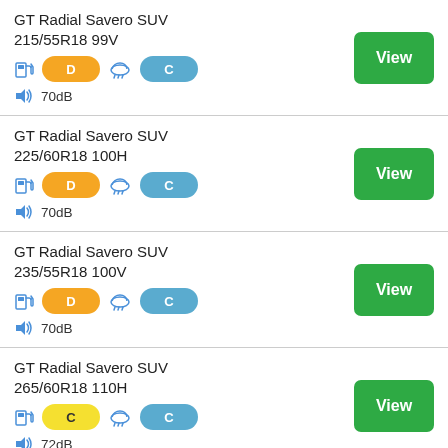GT Radial Savero SUV 215/55R18 99V | Fuel: D | Wet: C | Noise: 70dB
GT Radial Savero SUV 225/60R18 100H | Fuel: D | Wet: C | Noise: 70dB
GT Radial Savero SUV 235/55R18 100V | Fuel: D | Wet: C | Noise: 70dB
GT Radial Savero SUV 265/60R18 110H | Fuel: C | Wet: C | Noise: 72dB